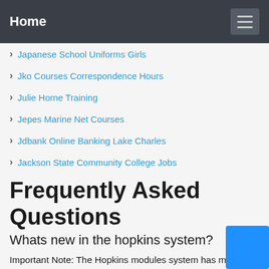Home
Japanese School Uniforms Girls
Jko Courses Correspondence Hours
Julie Horne Training
Jepes Marine Net Courses
Jdbank Online Banking Lake Charles
Jackson State Community College Jobs
Frequently Asked Questions
Whats new in the hopkins system?
Important Note: The Hopkins modules system has made a few improvements. One of them is that modules completed in an impossibly short time frame will be marked with an asterisk in performance reports. We have also made a the other modules available for your use as well.